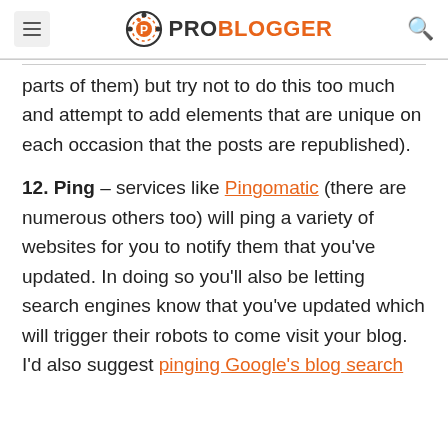ProBlogger
parts of them) but try not to do this too much and attempt to add elements that are unique on each occasion that the posts are republished).
12. Ping – services like Pingomatic (there are numerous others too) will ping a variety of websites for you to notify them that you've updated. In doing so you'll also be letting search engines know that you've updated which will trigger their robots to come visit your blog. I'd also suggest pinging Google's blog search